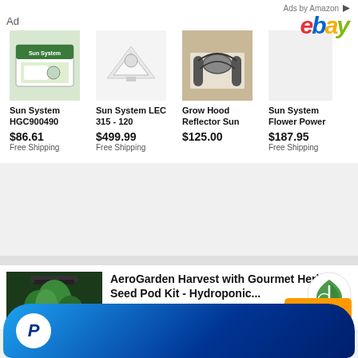Ads by Amazon
Ad
[Figure (logo): eBay logo in multicolor italic text]
[Figure (photo): Sun System HGC900490 product box]
Sun System HGC900490
$86.61
Free Shipping
[Figure (photo): Sun System LEC 315-120 light reflector]
Sun System LEC 315 - 120
$499.99
Free Shipping
[Figure (photo): Grow Hood Reflector Sun product photo]
Grow Hood Reflector Sun
$125.00
Sun System Flower Power
$187.95
Free Shipping
[Figure (photo): AeroGarden Harvest with herb plants growing]
AeroGarden Harvest with Gourmet Herb Seed Pod Kit - Hydroponic...
$109.00 $164.95 prime
[Figure (logo): Green leaf logo circle]
Buy Now
[Figure (logo): PayPal P logo on blue gradient bar]